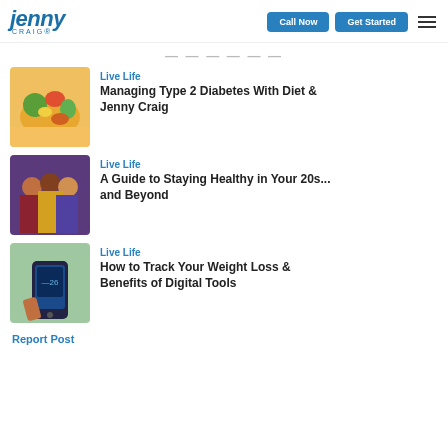Jenny Craig — Call Now | Get Started
Head Posts (partially visible)
Live Life — Managing Type 2 Diabetes With Diet & Jenny Craig
Live Life — A Guide to Staying Healthy in Your 20s... and Beyond
Live Life — How to Track Your Weight Loss & Benefits of Digital Tools
Report Post